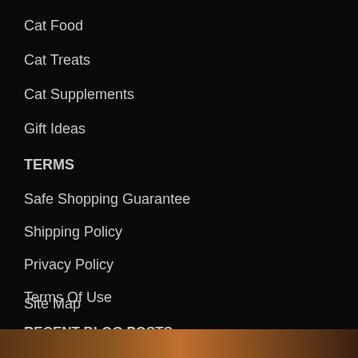Cat Food
Cat Treats
Cat Supplements
Gift Ideas
TERMS
Safe Shopping Guarantee
Shipping Policy
Privacy Policy
Terms Of Use
Site Map
RECENT BLOG POSTS
[Figure (photo): Partial photo at bottom of page, appears to show a cat or animal, cropped]